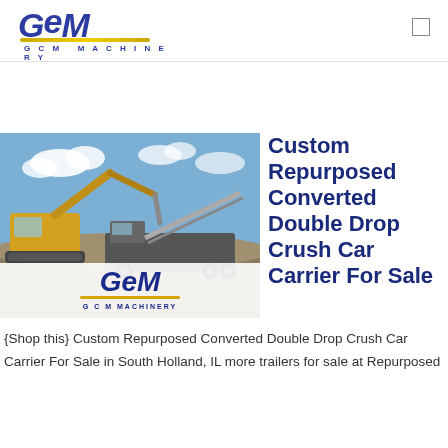GCM MACHINERY
[Figure (photo): Construction site photo showing a large yellow excavator loading material into a dump truck, with a conveyor system in the background under a blue sky. GCM Machinery logo overlaid at bottom of image.]
Custom Repurposed Converted Double Drop Crush Car Carrier For Sale
{Shop this} Custom Repurposed Converted Double Drop Crush Car Carrier For Sale in South Holland, IL more trailers for sale at Repurposed